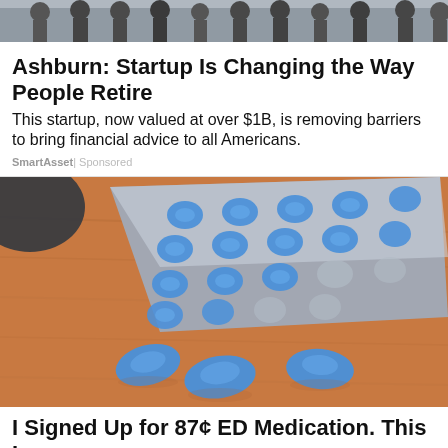[Figure (photo): Group of people standing outdoors, partial image at top of page]
Ashburn: Startup Is Changing the Way People Retire
This startup, now valued at over $1B, is removing barriers to bring financial advice to all Americans.
SmartAsset | Sponsored
[Figure (photo): Blue pills (ED medication) on a wooden surface next to a silver blister pack]
I Signed Up for 87¢ ED Medication. This Is